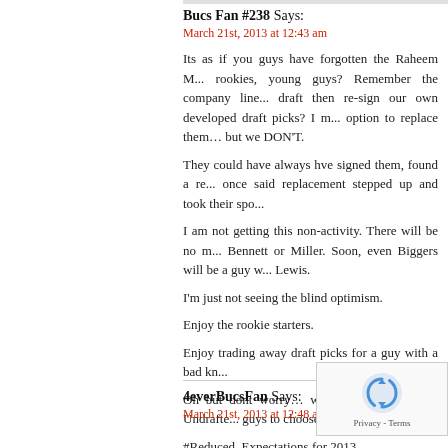Bucs Fan #238 Says:
March 21st, 2013 at 12:43 am

Its as if you guys have forgotten the Raheem M... rookies, young guys? Remember the company line... draft then re-sign our own developed draft picks? I m... option to replace them… but we DON'T.

They could have always hve signed them, found a re... once said replacement stepped up and took their spo...

I am not getting this non-activity. There will be no m... Bennett or Miller. Soon, even Biggers will be a guy w... Lewis.

I'm just not seeing the blind optimism.

Enjoy the rookie starters.

Enjoy trading away draft picks for a guy with a bad kn...

Oh but dont worry… we will have a ton of Undrafte... guys to choose from.

#Reduced_Expectations for 2013
4everBucsFan Says:
March 21st, 2013 at 12:48 am